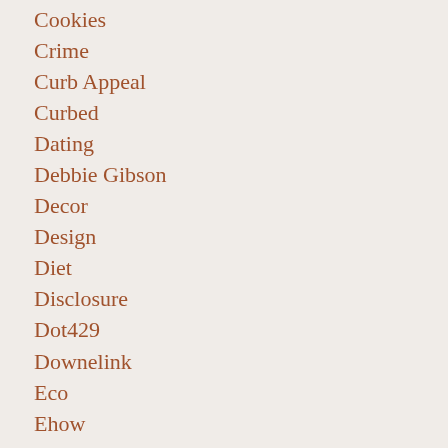Cookies
Crime
Curb Appeal
Curbed
Dating
Debbie Gibson
Decor
Design
Diet
Disclosure
Dot429
Downelink
Eco
Ehow
Ethics
Events
Fashion
Fat
Financ…